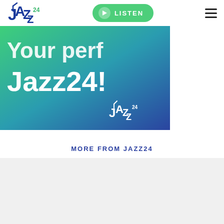Jazz24 — LISTEN navigation bar
[Figure (screenshot): Jazz24 hero banner with gradient background (green to blue) showing large white bold text 'Your perfect Jazz24!' and Jazz24 logo in lower right corner]
MORE FROM JAZZ24
[Figure (other): Light gray placeholder card area below MORE FROM JAZZ24 heading]